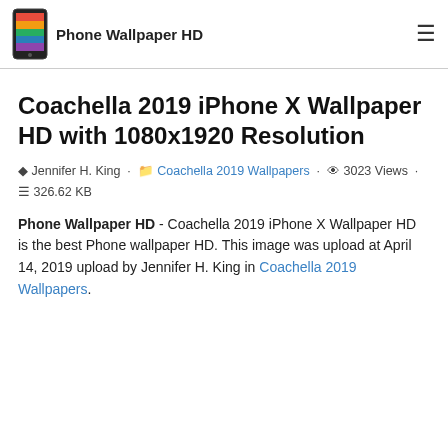Phone Wallpaper HD
Coachella 2019 iPhone X Wallpaper HD with 1080x1920 Resolution
Jennifer H. King · Coachella 2019 Wallpapers · 3023 Views · 326.62 KB
Phone Wallpaper HD - Coachella 2019 iPhone X Wallpaper HD is the best Phone wallpaper HD. This image was upload at April 14, 2019 upload by Jennifer H. King in Coachella 2019 Wallpapers.